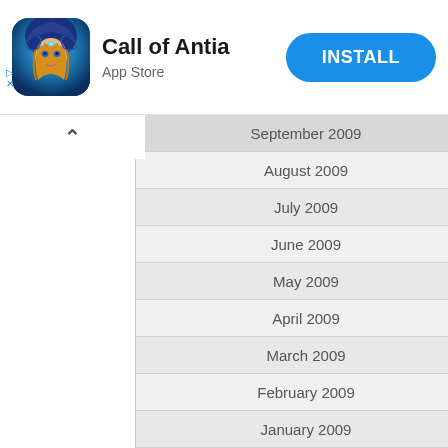[Figure (screenshot): App Store advertisement banner for 'Call of Antia' showing app icon (fantasy woman with blue hood), app name, 'App Store' label, and blue INSTALL button]
September 2009
August 2009
July 2009
June 2009
May 2009
April 2009
March 2009
February 2009
January 2009
December 2008
November 2008
October 2008
September 2008
August 2008
July 2008
June 2008
May 2008